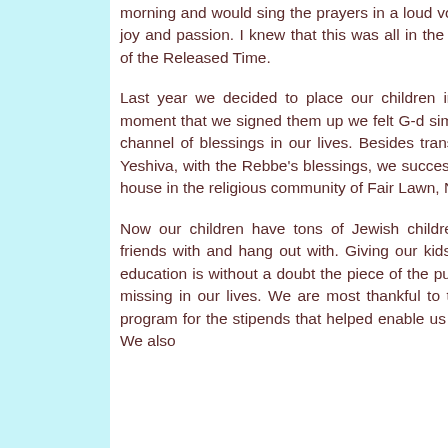morning and would sing the prayers in a loud voice filled with such joy and passion. I knew that this was all in the merit of the angels of the Released Time.
Last year we decided to place our children in Yeshiva and the moment that we signed them up we felt G-d simply opening a new channel of blessings in our lives. Besides transferring our kids to Yeshiva, with the Rebbe's blessings, we successfully moved into a house in the religious community of Fair Lawn, New Jersey.
Now our children have tons of Jewish children their age to be friends with and hang out with. Giving our kids a full-time Jewish education is without a doubt the piece of the puzzle that had been missing in our lives. We are most thankful to the Released Time program for the stipends that helped enable us to pay for Yeshiva. We also